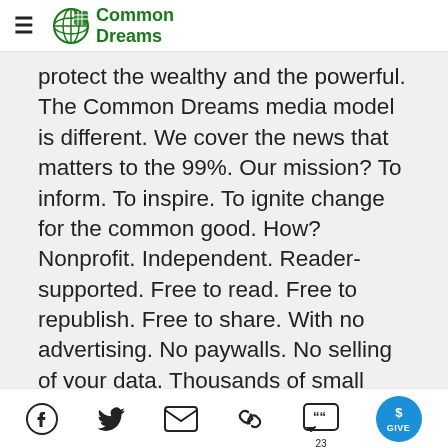Common Dreams
protect the wealthy and the powerful. The Common Dreams media model is different. We cover the news that matters to the 99%. Our mission? To inform. To inspire. To ignite change for the common good. How? Nonprofit. Independent. Reader-supported. Free to read. Free to republish. Free to share. With no advertising. No paywalls. No selling of your data. Thousands of small donations fund our newsroom and allow us to continue
Facebook, Twitter, Email, Link, Comments 23, GIVE